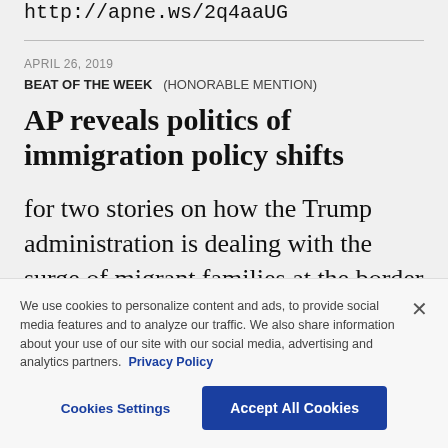http://apne.ws/2q4aaUG
APRIL 26, 2019
BEAT OF THE WEEK   (HONORABLE MENTION)
AP reveals politics of immigration policy shifts
for two stories on how the Trump administration is dealing with the surge of migrant families at the border and a
We use cookies to personalize content and ads, to provide social media features and to analyze our traffic. We also share information about your use of our site with our social media, advertising and analytics partners. Privacy Policy
Cookies Settings
Accept All Cookies